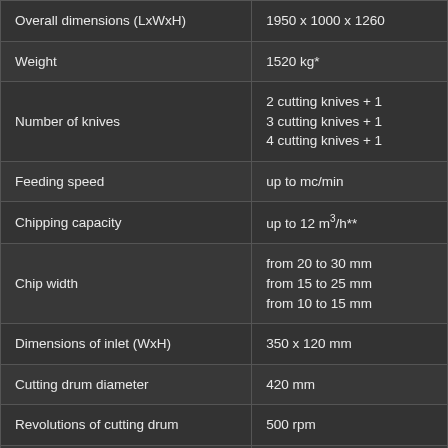| Parameter | Value |
| --- | --- |
| Overall dimensions (LxWxH) | 1950 x 1000 x 1260 |
| Weight | 1520 kg* |
| Number of knives | 2 cutting knives + 1
3 cutting knives + 1
4 cutting knives + 1 |
| Feeding speed | up to mc/min |
| Chipping capacity | up to 12 m³/h** |
| Chip width | from 20 to 30 mm
from 15 to 25 mm
from 10 to 15 mm |
| Dimensions of inlet (WxH) | 350 x 120 mm |
| Cutting drum diameter | 420 mm |
| Revolutions of cutting drum | 500 rpm |
| Feeding unit | belt or vibrating co |